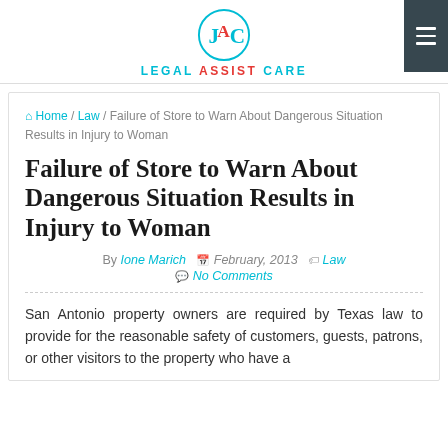[Figure (logo): Legal Assist Care logo — circular monogram with J, A, C letters in cyan and red, above text LEGAL ASSIST CARE]
LEGAL ASSIST CARE
Home / Law / Failure of Store to Warn About Dangerous Situation Results in Injury to Woman
Failure of Store to Warn About Dangerous Situation Results in Injury to Woman
By Ione Marich   February, 2013   Law
No Comments
San Antonio property owners are required by Texas law to provide for the reasonable safety of customers, guests, patrons, or other visitors to the property who have a